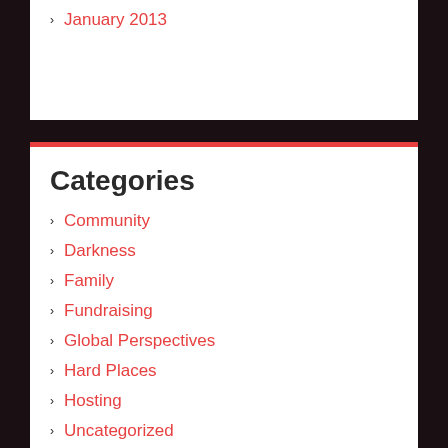January 2013
Categories
Community
Darkness
Family
Fundraising
Global Perspectives
Hard Places
Hosting
Uncategorized